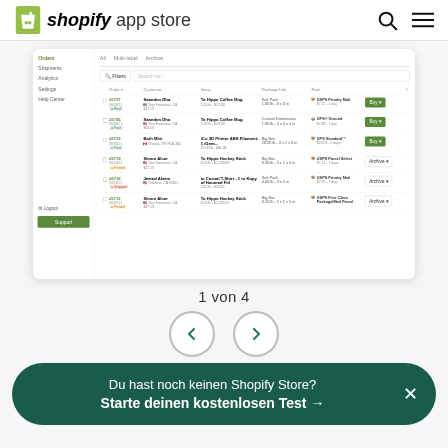[Figure (logo): Shopify App Store logo with green bag icon and text 'shopify app store']
[Figure (screenshot): Screenshot of a Shopify shipping/orders management app interface showing a list of orders with columns for Order, Customer, Items, Package Info, Rate, and action buttons. Multiple order rows are visible with statuses like Paid, Pending, Stopped. Green Buy buttons appear for some orders.]
1 von 4
[Figure (other): Navigation arrows (left and right chevrons) in circular outline buttons for carousel navigation]
Du hast noch keinen Shopify Store? Starte deinen kostenlosen Test →